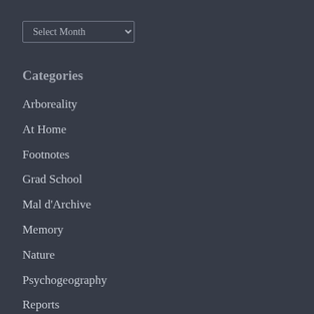Select Month (dropdown)
Categories
Arboreality
At Home
Footnotes
Grad School
Mal d'Archive
Memory
Nature
Psychogeography
Reports
Speculative Fiction